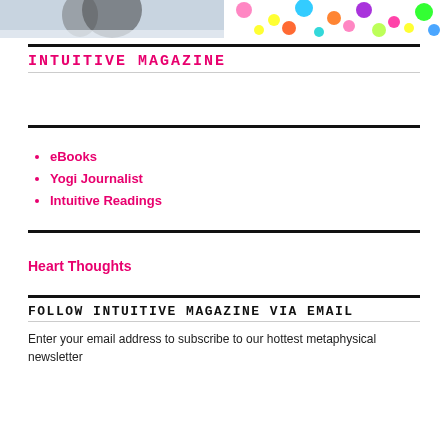[Figure (photo): Two images at the top: left shows a figure in snow/winter setting, right shows colorful confetti or bokeh lights]
INTUITIVE MAGAZINE
eBooks
Yogi Journalist
Intuitive Readings
Heart Thoughts
FOLLOW INTUITIVE MAGAZINE VIA EMAIL
Enter your email address to subscribe to our hottest metaphysical newsletter